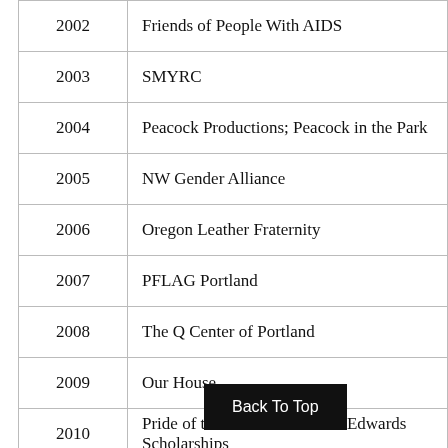| Year | Organization |
| --- | --- |
| 2002 | Friends of People With AIDS |
| 2003 | SMYRC |
| 2004 | Peacock Productions; Peacock in the Park |
| 2005 | NW Gender Alliance |
| 2006 | Oregon Leather Fraternity |
| 2007 | PFLAG Portland |
| 2008 | The Q Center of Portland |
| 2009 | Our House |
| 2010 | Pride of the Rose / Audria M. Edwards Scholarships |
| 2011 | Sisters of Perpe... |